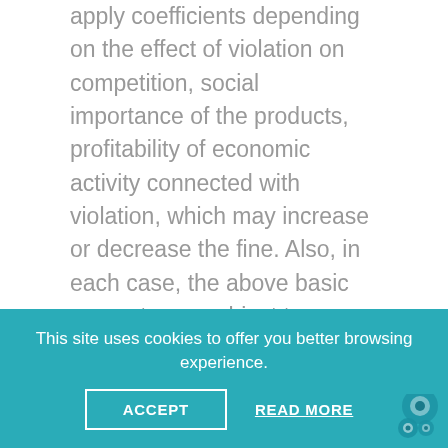apply coefficients depending on the effect of violation on competition, social importance of the products, profitability of economic activity connected with violation, which may increase or decrease the fine. Also, in each case, the above basic amounts are subject to possible further adjustment for aggravating or mitigating circumstances.
Although the statutory ceiling for a fine, of 5 per cent of the turnover in the year preceding the fining decision, remains in force, the authorities noted that the maximum theoretical fine can be imposed only in exceptional circumstances to ensure...
This site uses cookies to offer you better browsing experience.